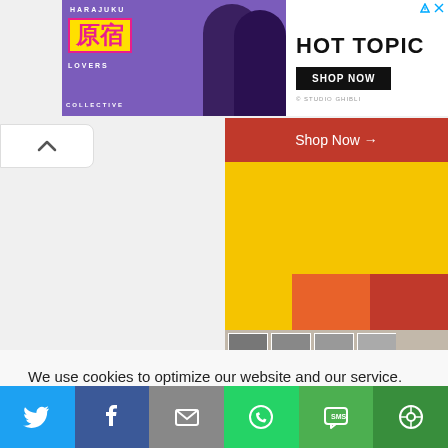[Figure (screenshot): Advertisement banner for Hot Topic featuring Harajuku Lovers Collective branding with anime-style figures on purple background, and Hot Topic logo with Shop Now button on white background. Ad choice icons in top right.]
[Figure (screenshot): Web page content area showing a Shop Now button on dark red background, yellow color blocks, orange and red color swatches, and a photo of a person wearing an orange beanie hat against a wall of photos.]
[Figure (screenshot): Back/up navigation button (chevron up arrow) on white pill-shaped button on left side.]
We use cookies to optimize our website and our service.
[Figure (screenshot): Accept button for cookie consent with blue border and teal Accept text.]
[Figure (screenshot): Social share bar at bottom with Twitter (blue), Facebook (dark blue), Email (gray), WhatsApp (green), SMS (green), and other sharing (dark green) icon buttons.]